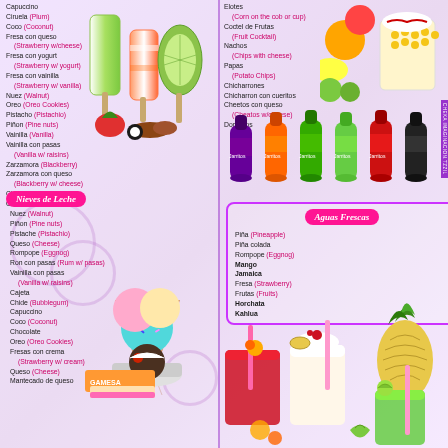Capuccino
Ciruela (Plum)
Coco (Coconut)
Fresa con queso (Strawberry w/cheese)
Fresa con yogurt (Strawberry w/ yogurt)
Fresa con vainilla (Strawberry w/ vanilla)
Nuez (Walnut)
Oreo (Oreo Cookies)
Pistacho (Pistachio)
Piñon (Pine nuts)
Vainilla (Vanilla)
Vainilla con pasas (Vanilla w/ raisins)
Zarzamora (Blackberry)
Zarzamora con queso (Blackberry w/ cheese)
Changos
Chocolate
Nieves de Leche
Nuez (Walnut)
Piñon (Pine nuts)
Pistache (Pistachio)
Queso (Cheese)
Rompope (Eggnog)
Ron con pasas (Rum w/ pasas)
Vainilla con pasas (Vanilla w/ raisins)
Cajeta
Chide (Bubblegum)
Capuccino
Coco (Coconut)
Chocolate
Oreo (Oreo Cookies)
Fresas con crema (Strawberry w/ cream)
Queso (Cheese)
Mantecado de queso
Elotes (Corn on the cob or cup)
Coctel de Frutas (Fruit Cocktail)
Nachos (Chips with cheese)
Papas (Potato Chips)
Chicharrones
Chicharron con cueritos
Cheetos con queso (Cheatos w/cheese)
Doritacos
Aguas Frescas
Piña (Pineapple)
Piña colada
Rompope (Eggnog)
Mango
Jamaica
Fresa (Strawberry)
Frutas (Fruits)
Horchata
Kahlua
[Figure (photo): Ice cream popsicles and fruit]
[Figure (photo): Ice cream scoops in cone and bowls]
[Figure (photo): Colorful soda bottles]
[Figure (photo): Aguas frescas drinks with pineapple]